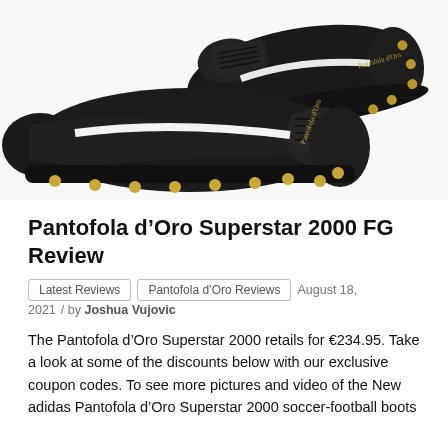[Figure (photo): Two black Pantofola d'Oro Superstar 2000 FG soccer cleats with gold studs and a white stripe, photographed on a white background.]
Pantofola d'Oro Superstar 2000 FG Review
Latest Reviews  Pantofola d'Oro Reviews  August 18, 2021 / by Joshua Vujovic
The Pantofola d'Oro Superstar 2000 retails for €234.95. Take a look at some of the discounts below with our exclusive coupon codes. To see more pictures and video of the New adidas Pantofola d'Oro Superstar 2000 soccer-football boots